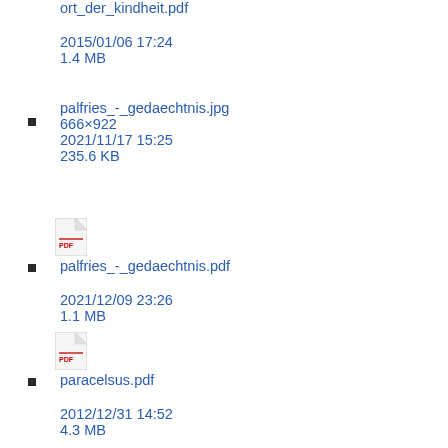ort_der_kindheit.pdf
2015/01/06 17:24
1.4 MB
palfries_-_gedaechtnis.jpg
666×922
2021/11/17 15:25
235.6 KB
palfries_-_gedaechtnis.pdf
2021/12/09 23:26
1.1 MB
paracelsus.pdf
2012/12/31 14:52
4.3 MB